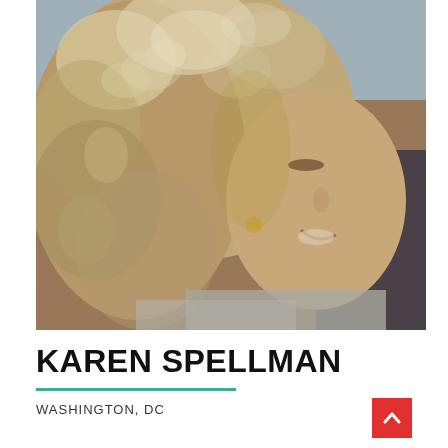[Figure (photo): Close-up photo of a woman with curly blond/light brown hair, smiling, viewed at a slight profile angle. She appears to be wearing a gray top and small earrings.]
KAREN SPELLMAN
WASHINGTON, DC